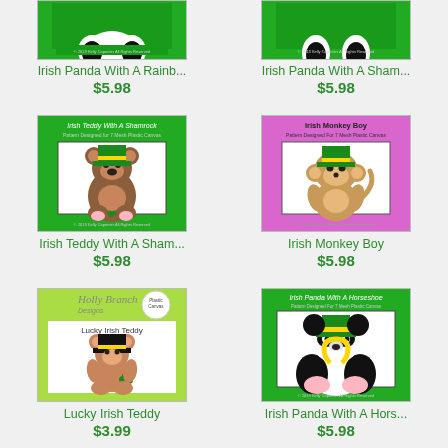[Figure (illustration): Irish Panda With A Rainbow product thumbnail - green background, panda with rainbow, partially visible at top]
Irish Panda With A Rainb...
$5.98
[Figure (illustration): Irish Panda With A Shamrock product thumbnail - green background, panda, partially visible at top]
Irish Panda With A Sham...
$5.98
[Figure (illustration): Irish Teddy With A Shamrock product thumbnail - green background, teddy bear with leprechaun hat and shamrock]
Irish Teddy With A Sham...
$5.98
[Figure (illustration): Irish Monkey Boy product thumbnail - pink background, monkey with green leprechaun hat]
Irish Monkey Boy
$5.98
[Figure (illustration): Lucky Irish Teddy product thumbnail - white/green background, teddy bear with black hat]
Lucky Irish Teddy
$3.99
[Figure (illustration): Irish Panda With A Horseshoe product thumbnail - green background, panda with horseshoe]
Irish Panda With A Hors...
$5.98